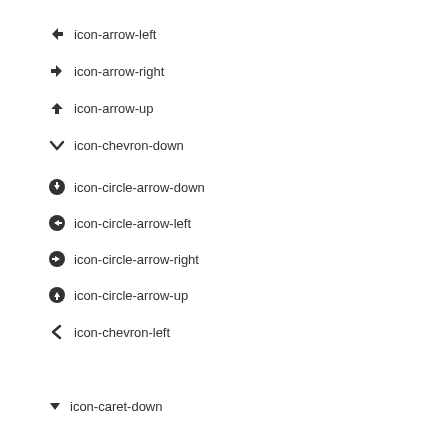icon-arrow-left
icon-arrow-right
icon-arrow-up
icon-chevron-down
icon-circle-arrow-down
icon-circle-arrow-left
icon-circle-arrow-right
icon-circle-arrow-up
icon-chevron-left
icon-caret-down